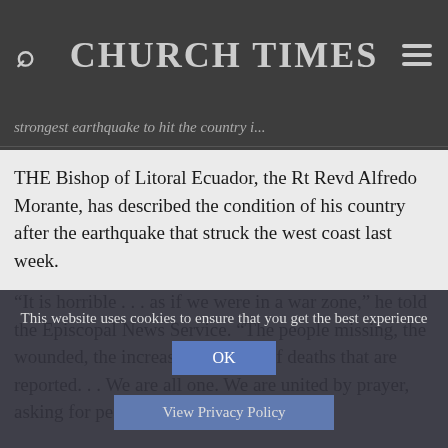CHURCH TIMES
strongest earthquake to hit the country i...
THE Bishop of Litoral Ecuador, the Rt Revd Alfredo Morante, has described the condition of his country after the earthquake that struck the west coast last week.
“It is horrible . . . as if we were in a war zone,” he told the Episcopal News Service. “The people missing, the wounded, the increasing number of deaths that are reported. . . We are all one. We are united by prayer, asking for peace in these difficult...
This website uses cookies to ensure that you get the best experience